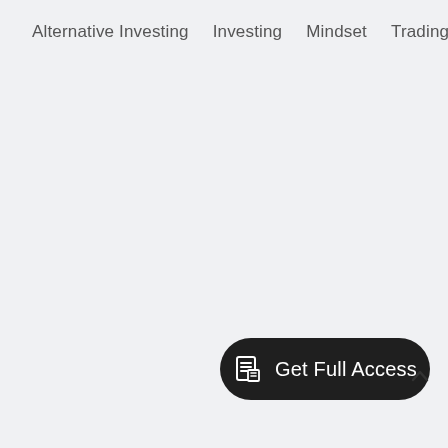Alternative Investing   Investing   Mindset   Trading
[Figure (other): A dark rounded pill-shaped button with a newspaper/document icon on the left and the text 'Get Full Access' in white, along with a scroll-up arrow icon to the right of the button.]